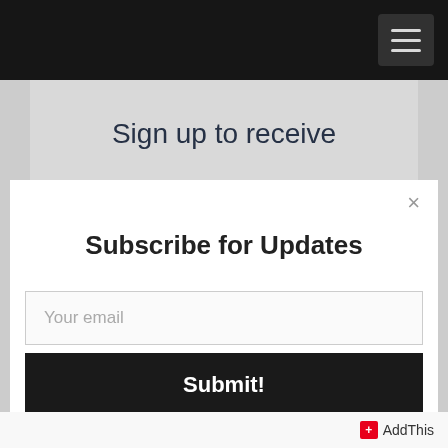[Figure (screenshot): Navigation bar with black background and hamburger menu button in the top right corner]
Sign up to receive
Subscribe for Updates
Your email
Submit!
AddThis